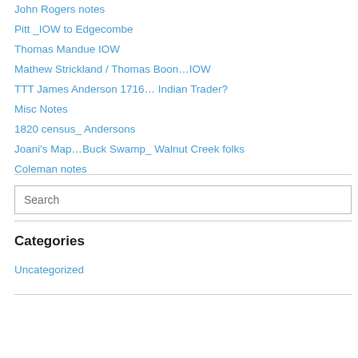John Rogers notes
Pitt _IOW to Edgecombe
Thomas Mandue IOW
Mathew Strickland / Thomas Boon…IOW
TTT James Anderson 1716… Indian Trader?
Misc Notes
1820 census_ Andersons
Joani's Map…Buck Swamp_ Walnut Creek folks
Coleman notes
Categories
Uncategorized